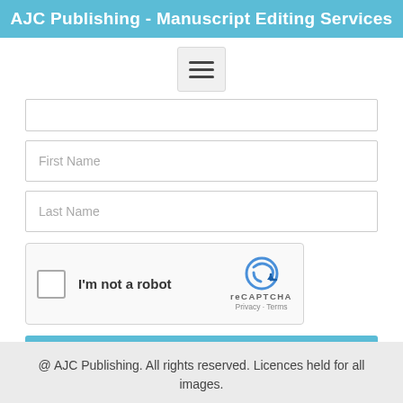AJC Publishing - Manuscript Editing Services
[Figure (other): Hamburger menu button icon with three horizontal bars]
First Name
Last Name
[Figure (other): reCAPTCHA widget with checkbox labeled 'I'm not a robot', reCAPTCHA logo, Privacy and Terms links]
SUBSCRIBE
@ AJC Publishing. All rights reserved. Licences held for all images.